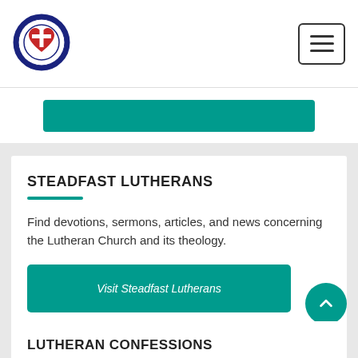Steadfast Lutherans website header with logo and hamburger menu
[Figure (logo): Circular Lutheran church seal/logo with cross and decorative border in navy blue and red]
STEADFAST LUTHERANS
Find devotions, sermons, articles, and news concerning the Lutheran Church and its theology.
Visit Steadfast Lutherans
LUTHERAN CONFESSIONS